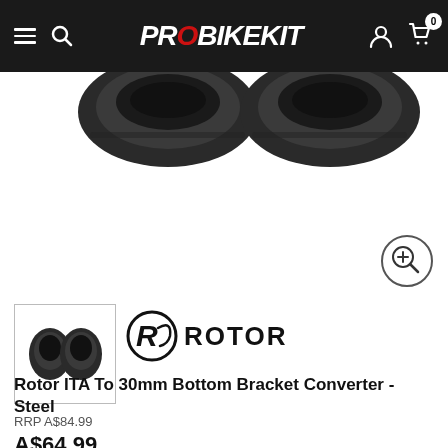PROBIKEKIT
[Figure (photo): Close-up product photo of two black Rotor ITA to 30mm bottom bracket converter cups (steel) on white background, partially cropped at top]
[Figure (photo): Small thumbnail image of the two black bottom bracket cups, shown in a bordered thumbnail box]
[Figure (logo): Rotor brand logo: circular R icon followed by ROTOR text in stylized font]
Rotor ITA To 30mm Bottom Bracket Converter - Steel
RRP A$84.99
A$64.99